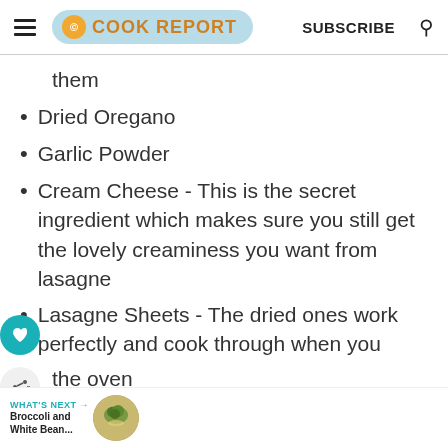THE COOK REPORT | SUBSCRIBE
them
Dried Oregano
Garlic Powder
Cream Cheese - This is the secret ingredient which makes sure you still get the lovely creaminess you want from lasagne
Lasagne Sheets - The dried ones work perfectly and cook through when you [bake in] the oven
Mozzarella
Parmesan - For that added cheesiness at
WHAT'S NEXT → Broccoli and White Bean...